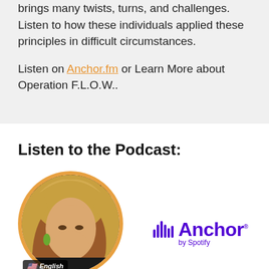brings many twists, turns, and challenges. Listen to how these individuals applied these principles in difficult circumstances.
Listen on Anchor.fm or Learn More about Operation F.L.O.W..
Listen to the Podcast:
[Figure (photo): Circular profile photo of a blonde woman with a US flag 'English' badge overlay at the bottom]
[Figure (logo): Anchor by Spotify logo in purple]